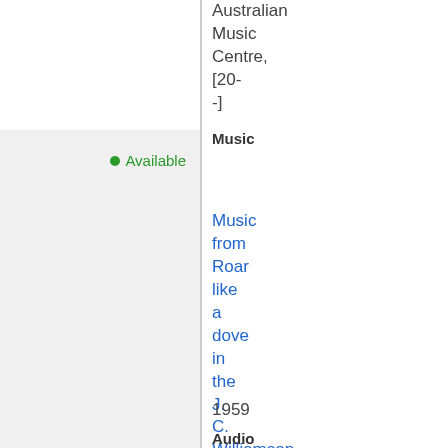Australian Music Centre, [20--]
Music
Available
Music from Roar like a dove in the J. C. Williamson MS 5783 collection
1959
Audio